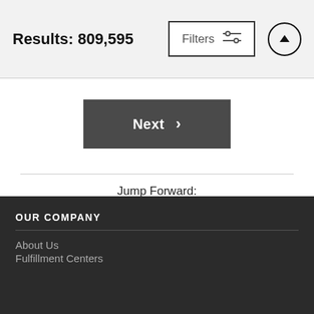Results: 809,595
Next
Jump Forward:
10  11  12  13  14  15  16  17  18  19
OUR COMPANY
About Us
Fulfillment Centers